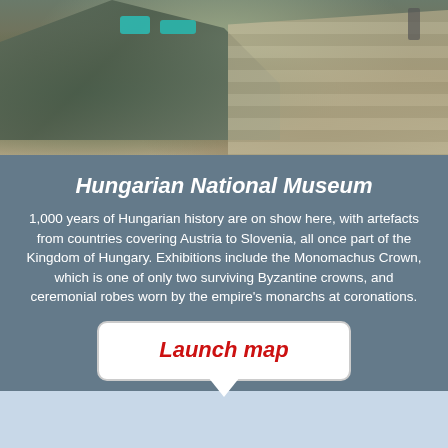[Figure (photo): Outdoor photo of a neoclassical building exterior, showing a large stone monument or statue on the left, with wide stone steps on the right. Colorful objects (teal/turquoise) visible on the steps.]
Hungarian National Museum
1,000 years of Hungarian history are on show here, with artefacts from countries covering Austria to Slovenia, all once part of the Kingdom of Hungary. Exhibitions include the Monomachus Crown, which is one of only two surviving Byzantine crowns, and ceremonial robes worn by the empire's monarchs at coronations.
[Figure (other): Launch map button — white rounded rectangle with red italic bold text 'Launch map', with a downward pointing arrow/callout tail at the bottom.]
[Figure (map): Partial map strip visible in light blue/grey color behind the launch map popup.]
We use cookies to understand how you use our site and to improve your experience. Click 'Ok, got it' to accept or learn more about managing your cookies.
Learn more
Ok, got it